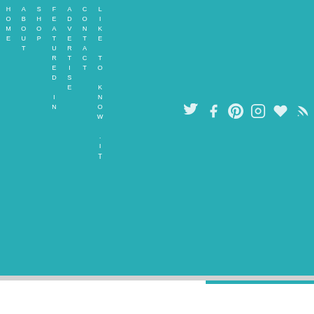[Figure (screenshot): Teal website navigation header with vertical rotated text menu items: HOME, ABOUT, SHOP, FEATURED IN, ADVERTISE, CONTACT, LIKE TO KNOW IT. Social media icons on the right side (Twitter, Facebook, Pinterest, Instagram, heart, RSS).]
<center>
<a
Linking up with The P
[Figure (illustration): Cursive signature reading 'Sham' (partially visible)]
SHARE W
FACEBOOK · TWITTER